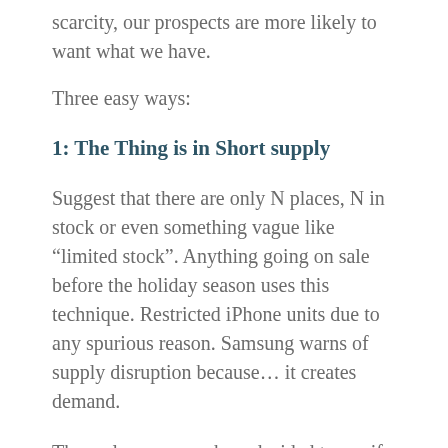scarcity, our prospects are more likely to want what we have.
Three easy ways:
1: The Thing is in Short supply
Suggest that there are only N places, N in stock or even something vague like “limited stock”. Anything going on sale before the holiday season uses this technique. Restricted iPhone units due to any spurious reason. Samsung warns of supply disruption because… it creates demand.
Three clever researchers decided to see if moving from a state of abundance to scarcity increased the perceived value of The Thing. They started by giving one group a jar with ten